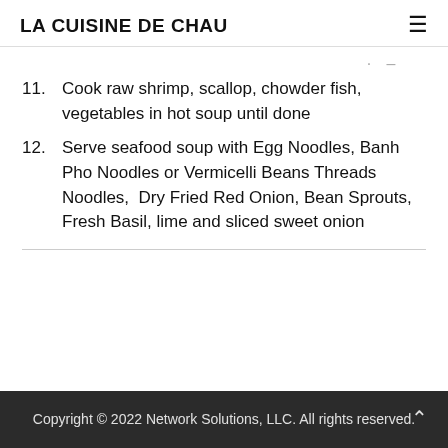LA CUISINE DE CHAU
11. Cook raw shrimp, scallop, chowder fish, vegetables in hot soup until done
12. Serve seafood soup with Egg Noodles, Banh Pho Noodles or Vermicelli Beans Threads Noodles, Dry Fried Red Onion, Bean Sprouts, Fresh Basil, lime and sliced sweet onion
Copyright © 2022 Network Solutions, LLC. All rights reserved.